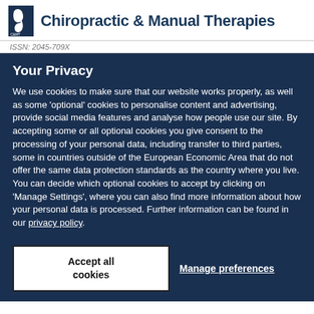Chiropractic & Manual Therapies
ISSN: 2045-709X
Your Privacy
We use cookies to make sure that our website works properly, as well as some 'optional' cookies to personalise content and advertising, provide social media features and analyse how people use our site. By accepting some or all optional cookies you give consent to the processing of your personal data, including transfer to third parties, some in countries outside of the European Economic Area that do not offer the same data protection standards as the country where you live. You can decide which optional cookies to accept by clicking on 'Manage Settings', where you can also find more information about how your personal data is processed. Further information can be found in our privacy policy.
Accept all cookies
Manage preferences